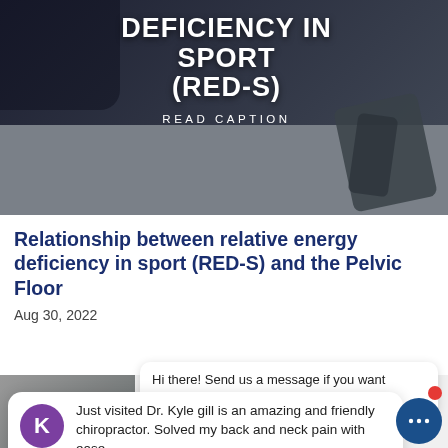[Figure (photo): Dark athletic/sport themed hero image with sneaker and sports equipment on ground, overlaid with large white bold text reading DEFICIENCY IN SPORT (RED-S) and READ CAPTION below]
Relationship between relative energy deficiency in sport (RED-S) and the Pelvic Floor
Aug 30, 2022
[Figure (screenshot): A chat bubble overlay showing: Hi there! Send us a message if you want [r]vice. Below it a review card with avatar K, text: Just visited Dr. Kyle gill is an amazing and friendly chiropractor. Solved my back and neck pain with ease. Five gold stars and Google logo.]